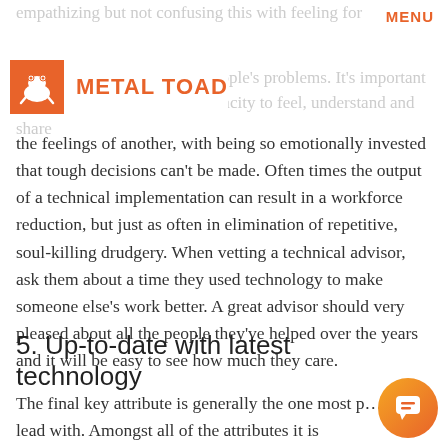MENU
[Figure (logo): Metal Toad logo: orange square with white toad icon, followed by bold orange text METAL TOAD]
the feelings of another, with being so emotionally invested that tough decisions can't be made. Often times the output of a technical implementation can result in a workforce reduction, but just as often in elimination of repetitive, soul-killing drudgery. When vetting a technical advisor, ask them about a time they used technology to make someone else's work better. A great advisor should very pleased about all the people they've helped over the years and it will be easy to see how much they care.
5. Up-to-date with latest technology
The final key attribute is generally the one most p… try to lead with. Amongst all of the attributes it is